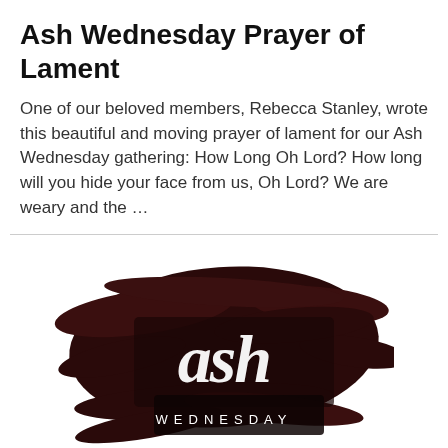Ash Wednesday Prayer of Lament
One of our beloved members, Rebecca Stanley, wrote this beautiful and moving prayer of lament for our Ash Wednesday gathering: How Long Oh Lord? How long will you hide your face from us, Oh Lord? We are weary and the …
[Figure (illustration): Ash Wednesday graphic: dark maroon/brown brushstroke background with white script lettering 'ash' and 'WEDNESDAY' in spaced capital letters below.]